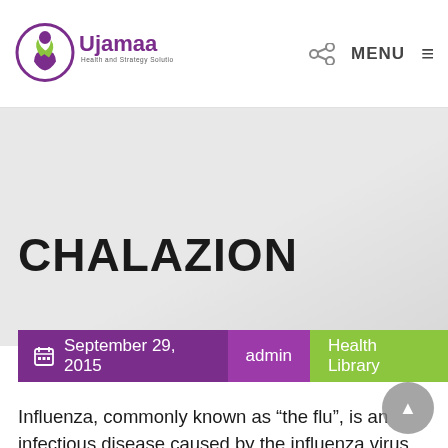[Figure (logo): Ujamaa Health and Strategy Solutions logo with purple circular figure and green leaves]
CHALAZION
September 29, 2015  admin  Health Library
Influenza, commonly known as “the flu”, is an infectious disease caused by the influenza virus. Symptoms can be mild to severe. The most common symptoms include: a high fever, runny nose, sore throat, muscle pains, headache, coughing, and feeling tired.